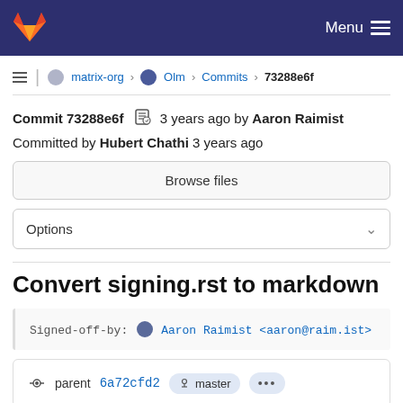GitLab navigation bar with Menu
≡ | matrix-org › Olm › Commits › 73288e6f
Commit 73288e6f 🗒 3 years ago by Aaron Raimist Committed by Hubert Chathi 3 years ago
Browse files
Options
Convert signing.rst to markdown
Signed-off-by: Aaron Raimist <aaron@raim.ist>
parent 6a72cfd2 master ...